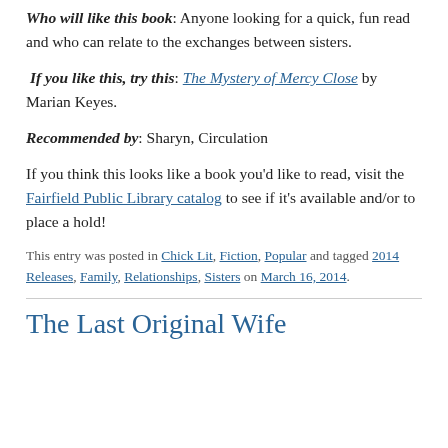Who will like this book: Anyone looking for a quick, fun read and who can relate to the exchanges between sisters.
If you like this, try this: The Mystery of Mercy Close by Marian Keyes.
Recommended by: Sharyn, Circulation
If you think this looks like a book you'd like to read, visit the Fairfield Public Library catalog to see if it’s available and/or to place a hold!
This entry was posted in Chick Lit, Fiction, Popular and tagged 2014 Releases, Family, Relationships, Sisters on March 16, 2014.
The Last Original Wife